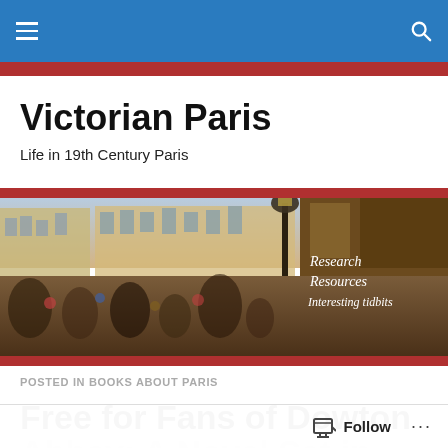Victorian Paris — navigation bar with hamburger menu and search icon
Victorian Paris
Life in 19th Century Paris
[Figure (illustration): A colorful impressionist painting of a crowded 19th century Paris street scene with many people, buildings, and a lamp post. Overlaid text reads: Research Resources Interesting tidbits]
POSTED IN BOOKS ABOUT PARIS
Free for Fans of Dowton Abbey: A Novel Set in...
Follow ...